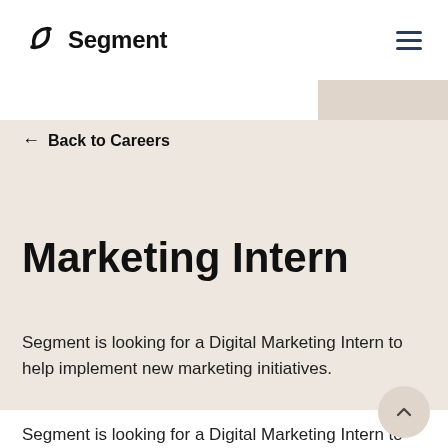Segment
← Back to Careers
Marketing Intern
Segment is looking for a Digital Marketing Intern to help implement new marketing initiatives.